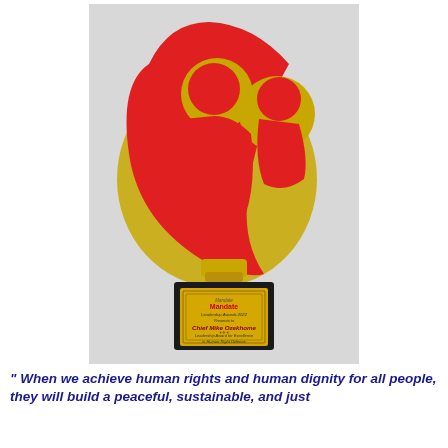[Figure (photo): A trophy award with a red and gold sculptural top featuring two human figures, mounted on a black base with a gold plaque reading: Mandate Leadership Awards 2022, Presents to, Chief Mike Ozekhome, Leadership Award for Excellence in Human Right Defence]
" When we achieve human rights and human dignity for all people, they will build a peaceful, sustainable, and just